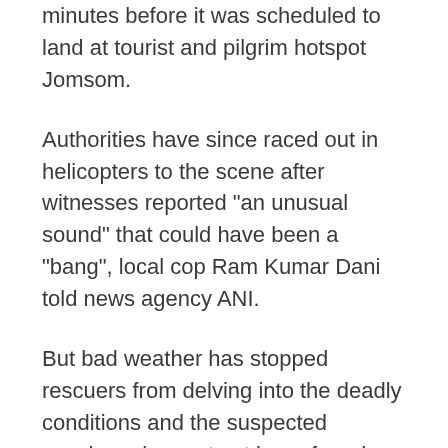minutes before it was scheduled to land at tourist and pilgrim hotspot Jomsom.
Authorities have since raced out in helicopters to the scene after witnesses reported "an unusual sound" that could have been a "bang", local cop Ram Kumar Dani told news agency ANI.
But bad weather has stopped rescuers from delving into the deadly conditions and the suspected wreckage has not yet been found.